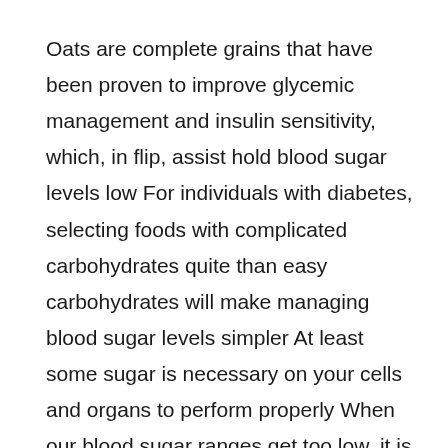Oats are complete grains that have been proven to improve glycemic management and insulin sensitivity, which, in flip, assist hold blood sugar levels low For individuals with diabetes, selecting foods with complicated carbohydrates quite than easy carbohydrates will make managing blood sugar levels simpler At least some sugar is necessary on your cells and organs to perform properly When our blood sugar ranges get too low, it is known as hypoglycemia Without sufficient glucose as gasoline, we lose the flexibility to perform usually.
The impact of diabetes also increased with the extent of socioeconomic disadvantage with charges being 20 23 occasions as excessive in the lowest in